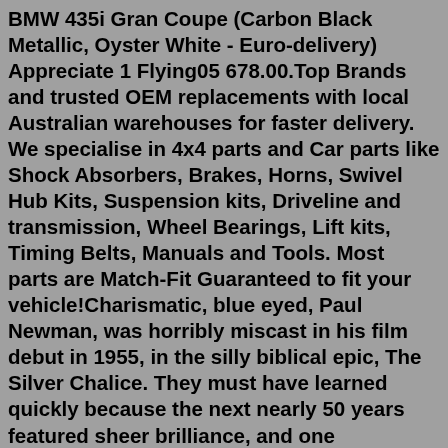BMW 435i Gran Coupe (Carbon Black Metallic, Oyster White - Euro-delivery) Appreciate 1 Flying05 678.00.Top Brands and trusted OEM replacements with local Australian warehouses for faster delivery. We specialise in 4x4 parts and Car parts like Shock Absorbers, Brakes, Horns, Swivel Hub Kits, Suspension kits, Driveline and transmission, Wheel Bearings, Lift kits, Timing Belts, Manuals and Tools. Most parts are Match-Fit Guaranteed to fit your vehicle!Charismatic, blue eyed, Paul Newman, was horribly miscast in his film debut in 1955, in the silly biblical epic, The Silver Chalice. They must have learned quickly because the next nearly 50 years featured sheer brilliance, and one memorable film characterization after another for the wonderful Paul Newman.From Somebody Up There Likes Me to Road to Perdition, Newman, was likeable, magnetic and ...groomed husky. Double masters 2022 mtg.SNC - Grixis Control ( Standard MTG Deck) SNC - Grixis Control Standard Arena Competitive Control Counterspell Dragons URD ( Grixis ) FootrideB...